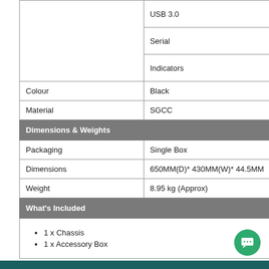|  |  |
| --- | --- |
|  | USB 3.0 |
|  | Serial |
|  | Indicators |
| Colour | Black |
| Material | SGCC |
| Dimensions & Weights |  |
| Packaging | Single Box |
| Dimensions | 650MM(D)* 430MM(W)* 44.5MM |
| Weight | 8.95 kg (Approx) |
| What's Included |  |
1 x Chassis
1 x Accessory Box